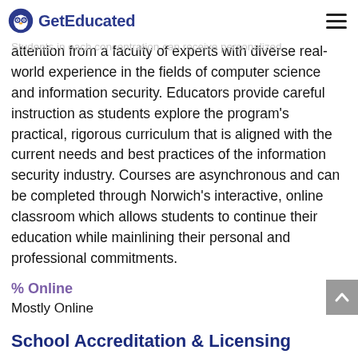GetEducated
Cyberspace, or Vulnerability Management.
Students in each concentration can receive personalized attention from a faculty of experts with diverse real-world experience in the fields of computer science and information security. Educators provide careful instruction as students explore the program's practical, rigorous curriculum that is aligned with the current needs and best practices of the information security industry. Courses are asynchronous and can be completed through Norwich's interactive, online classroom which allows students to continue their education while mainlining their personal and professional commitments.
% Online
Mostly Online
School Accreditation & Licensing
Norwich University is accredited by: